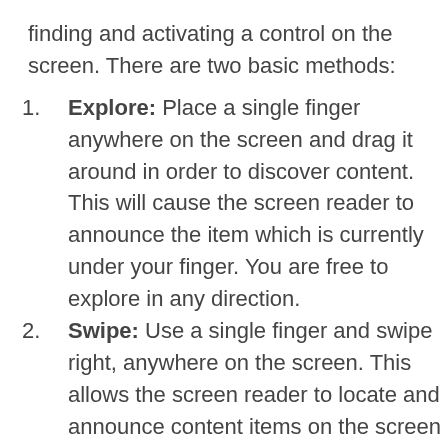finding and activating a control on the screen. There are two basic methods:
Explore: Place a single finger anywhere on the screen and drag it around in order to discover content. This will cause the screen reader to announce the item which is currently under your finger. You are free to explore in any direction.
Swipe: Use a single finger and swipe right, anywhere on the screen. This allows the screen reader to locate and announce content items on the screen from top-top-bottom, left-to-right sequence. Swiping left will find items in